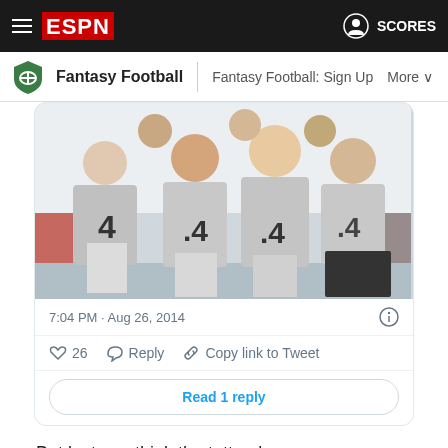ESPN Fantasy Football | Fantasy Football: Sign Up  More
[Figure (photo): Group photo of people wearing grey t-shirts with number 4 printed on them, seated/standing together indoors.]
7:04 PM · Aug 26, 2014
26  Reply  Copy link to Tweet
Read 1 reply
But lest you think the tattoo league guys are the only hard-core guys out there when it comes to this, think again. Dan Panton's league from Florida is pretty hard-core. Losers in that league